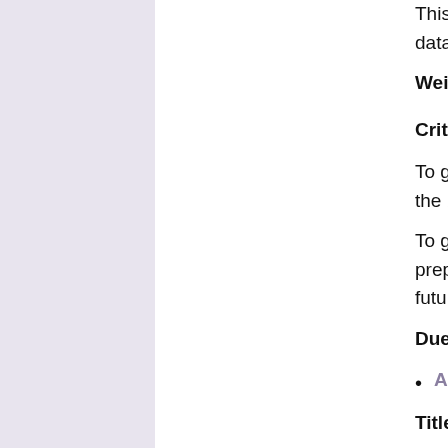This assignment requires students to build a good model from describing the data mining
Weighting : 10%
Criteria for assessment :
To get a Pass grade, students must complete preparation/preprocessing, find the best model, and submit the process.
To get a better grade, students should do extra data analysis and preprocessing, try different models and describe how it can be applied for future.
Due date : 9 April 2008
Assignment Task
Title : Assignment 2